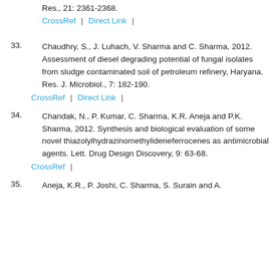Res., 21: 2361-2368.
CrossRef | Direct Link |
33. Chaudhry, S., J. Luhach, V. Sharma and C. Sharma, 2012. Assessment of diesel degrading potential of fungal isolates from sludge contaminated soil of petroleum refinery, Haryana. Res. J. Microbiol., 7: 182-190.
CrossRef | Direct Link |
34. Chandak, N., P. Kumar, C. Sharma, K.R. Aneja and P.K. Sharma, 2012. Synthesis and biological evaluation of some novel thiazolylhydrazinomethylideneferrocenes as antimicrobial agents. Lett. Drug Design Discovery, 9: 63-68.
CrossRef |
35. Aneja, K.R., P. Joshi, C. Sharma, S. Surain and A.